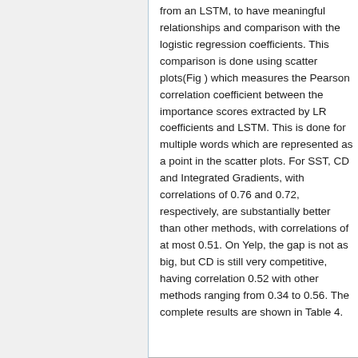from an LSTM, to have meaningful relationships and comparison with the logistic regression coefficients. This comparison is done using scatter plots(Fig ) which measures the Pearson correlation coefficient between the importance scores extracted by LR coefficients and LSTM. This is done for multiple words which are represented as a point in the scatter plots. For SST, CD and Integrated Gradients, with correlations of 0.76 and 0.72, respectively, are substantially better than other methods, with correlations of at most 0.51. On Yelp, the gap is not as big, but CD is still very competitive, having correlation 0.52 with other methods ranging from 0.34 to 0.56. The complete results are shown in Table 4.